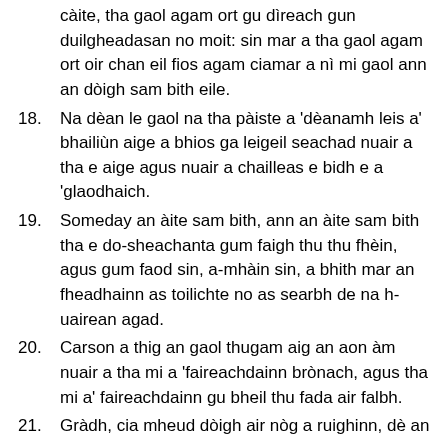càite, tha gaol agam ort gu dìreach gun duilgheadasan no moit: sin mar a tha gaol agam ort oir chan eil fios agam ciamar a nì mi gaol ann an dòigh sam bith eile.
18. Na dèan le gaol na tha pàiste a 'dèanamh leis a' bhailiùn aige a bhios ga leigeil seachad nuair a tha e aige agus nuair a chailleas e bidh e a 'glaodhaich.
19. Someday an àite sam bith, ann an àite sam bith tha e do-sheachanta gum faigh thu thu fhèin, agus gum faod sin, a-mhàin sin, a bhith mar an fheadhainn as toilichte no as searbh de na h-uairean agad.
20. Carson a thig an gaol thugam aig an aon àm nuair a tha mi a 'faireachdainn brònach, agus tha mi a' faireachdainn gu bheil thu fada air falbh.
21. Gràdh, cia mheud dòigh air nòg a ruighinn, dè an